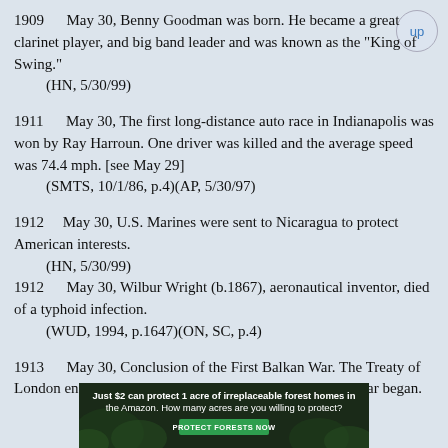1909      May 30, Benny Goodman was born. He became a great clarinet player, and big band leader and was known as the "King of Swing."
(HN, 5/30/99)
1911      May 30, The first long-distance auto race in Indianapolis was won by Ray Harroun. One driver was killed and the average speed was 74.4 mph. [see May 29]
(SMTS, 10/1/86, p.4)(AP, 5/30/97)
1912      May 30, U.S. Marines were sent to Nicaragua to protect American interests.
(HN, 5/30/99)
1912      May 30, Wilbur Wright (b.1867), aeronautical inventor, died of a typhoid infection.
(WUD, 1994, p.1647)(ON, SC, p.4)
1913      May 30, Conclusion of the First Balkan War. The Treaty of London ended First Balkan War, and the Second Balkan War began.
[Figure (infographic): Advertisement banner: Just $2 can protect 1 acre of irreplaceable forest homes in the Amazon. How many acres are you willing to protect? PROTECT FORESTS NOW button.]